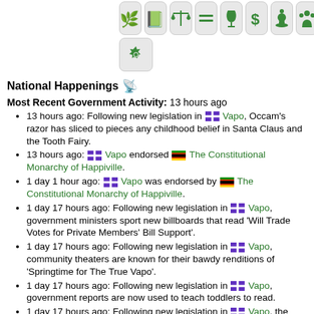[Figure (illustration): Row of green icon buttons on grey rounded tiles: nature/landscape, book/legislation, scales of justice, equals sign, wine glass, dollar sign, chess piece/authority, person/community, and a gear/settings icon below]
National Happenings 📡
Most Recent Government Activity: 13 hours ago
13 hours ago: Following new legislation in [flag] Vapo, Occam's razor has sliced to pieces any childhood belief in Santa Claus and the Tooth Fairy.
13 hours ago: [flag] Vapo endorsed [flag] The Constitutional Monarchy of Happiville.
1 day 1 hour ago: [flag] Vapo was endorsed by [flag] The Constitutional Monarchy of Happiville.
1 day 17 hours ago: Following new legislation in [flag] Vapo, government ministers sport new billboards that read 'Will Trade Votes for Private Members' Bill Support'.
1 day 17 hours ago: Following new legislation in [flag] Vapo, community theaters are known for their bawdy renditions of 'Springtime for The True Vapo'.
1 day 17 hours ago: Following new legislation in [flag] Vapo, government reports are now used to teach toddlers to read.
1 day 17 hours ago: Following new legislation in [flag] Vapo, the state auctions off combat drones to fund war reparations.
2 days 16 hours ago: Following new legislation in [flag] Vapo, pretending to be prejudiced is a good way to get out of jury duty.